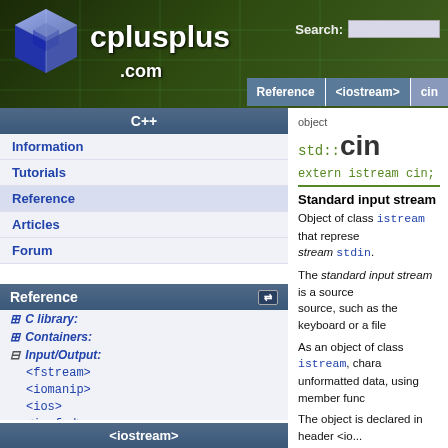cplusplus.com — Reference > <iostream> > cin
C++
Information
Tutorials
Reference
Articles
Forum
Reference
+ C library:
+ Containers:
- Input/Output:
<fstream>
<iomanip>
<ios>
<iosfwd>
<iostream>
<istream>
<ostream>
<sstream>
<streambuf>
+ Multi-threading:
+ Other:
<iostream>
object
std::cin
Standard input stream
Object of class istream that represents the standard input stream stdin.
The standard input stream is a source of characters. Its ultimate source, such as the keyboard or a file.
As an object of class istream, characters can be retrieved either as formatted or unformatted data, using member functions.
The object is declared in header <io...
C++98  C++11
In terms of static initialization order...